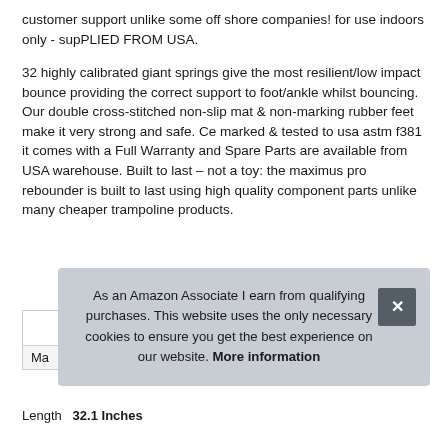customer support unlike some off shore companies! for use indoors only - supPLIED FROM USA.
32 highly calibrated giant springs give the most resilient/low impact bounce providing the correct support to foot/ankle whilst bouncing. Our double cross-stitched non-slip mat & non-marking rubber feet make it very strong and safe. Ce marked & tested to usa astm f381 it comes with a Full Warranty and Spare Parts are available from USA warehouse. Built to last – not a toy: the maximus pro rebounder is built to last using high quality component parts unlike many cheaper trampoline products.
| Ma |  |
As an Amazon Associate I earn from qualifying purchases. This website uses the only necessary cookies to ensure you get the best experience on our website. More information
Length  32.1 Inches